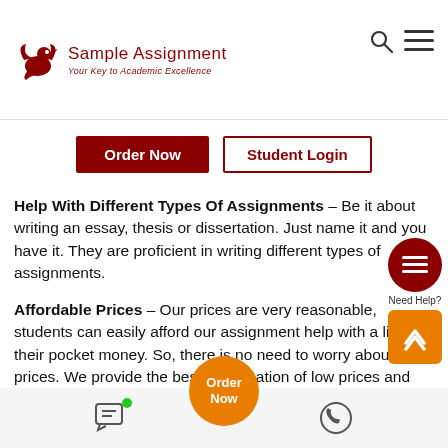[Figure (logo): Sample Assignment logo with bird icon and tagline 'Your Key to Academic Excellence']
Order Now
Student Login
Help With Different Types Of Assignments – Be it about writing an essay, thesis or dissertation. Just name it and you have it. They are proficient in writing different types of assignments.
Affordable Prices – Our prices are very reasonable, students can easily afford our assignment help with a little of their pocket money. So, there is no need to worry about high prices. We provide the best combination of low prices and high-quality services.
On-Call Consultation With The Experts – If you have any doubt regarding the subject or the assignment,
[Figure (screenshot): Floating menu button (dark red circle with hamburger lines) and Need Help? label with orange arrow-up button]
[Figure (screenshot): Bottom bar with chat icon (green dot), orange Order Now circle button, and phone/WhatsApp icon]